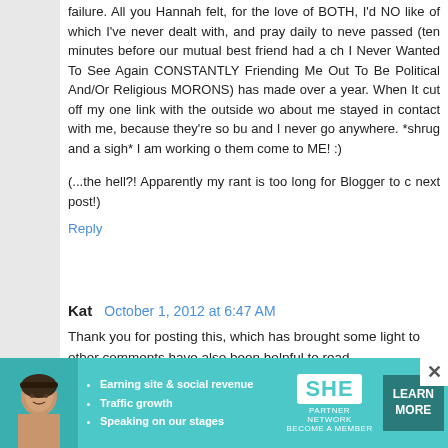...like of which I've never dealt with, and pray daily to never deal with again passed (ten minutes before our mutual best friend had a ch I Never Wanted To See Again CONSTANTLY Friending Me Out To Be Political And/Or Religious MORONS) has made over a year. When It cut off my one link with the outside wo about me stayed in contact with me, because they're so bu and I never go anywhere. *shrug and a sigh* I am working o them come to ME! :)
(...the hell?! Apparently my rant is too long for Blogger to c next post!)
Reply
Kat  October 1, 2012 at 6:47 AM
Thank you for posting this, which has brought some light to other comments have also been helpful to read. I have some sort of social anxiety that is a problem with h burn out - I cannot even say good morning or good night to law came recently to stay with us for a couple of weeks. himself over to stay as well as a cousin. No one - even myself to some degree - understands why I like a really mean and horrible person, and indeed make mother-in-law really hated me for it - was one of the w my partner to break up with me, it left our relationship
[Figure (infographic): SHE Partner Network advertisement banner with photo of woman, bullet points about earning site & social revenue, traffic growth, speaking on stages, SHE logo, and LEARN MORE button]